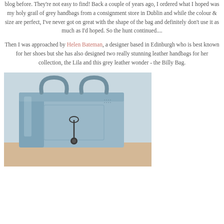blog before. They're not easy to find! Back a couple of years ago, I ordered what I hoped was my holy grail of grey handbags from a consignment store in Dublin and while the colour & size are perfect, I've never got on great with the shape of the bag and definitely don't use it as much as I'd hoped. So the hunt continued....
Then I was approached by Helen Bateman, a designer based in Edinburgh who is best known for her shoes but she has also designed two really stunning leather handbags for her collection, the Lila and this grey leather wonder - the Billy Bag.
[Figure (photo): A grey-blue leather tote handbag (the Billy Bag by Helen Bateman) with two handles, a front flap closure with a toggle/tassel fastening, photographed on what appears to be a light wooden surface.]